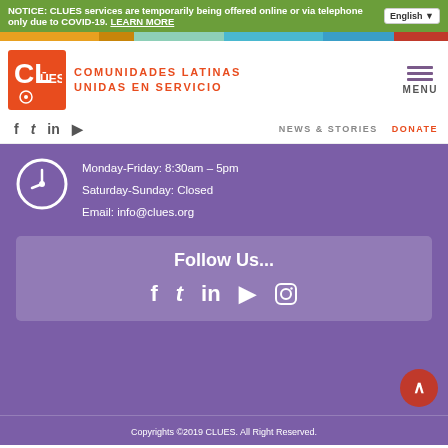NOTICE: CLUES services are temporarily being offered online or via telephone only due to COVID-19. LEARN MORE
[Figure (logo): CLUES logo - Comunidades Latinas Unidas En Servicio]
NEWS & STORIES   DONATE
Monday-Friday: 8:30am - 5pm
Saturday-Sunday: Closed
Email: info@clues.org
Follow Us...
Copyrights ©2019 CLUES. All Right Reserved.